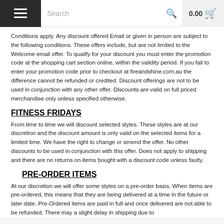Search  0.00
Conditions apply.  Any discount offered Email or given in person are subject to the following conditions. These offers include, but are not limited to the Welcome email offer. To qualify for your discount you must enter the promotion code at the shopping cart section online, within the validity period. If you fail to enter your promotion code prior to checkout at fireandshine.com.au the difference cannot be refunded or credited. Discount offerings are not to be used in conjunction with any other offer. Discounts are valid on full priced merchandise only unless specified otherwise.
FITNESS FRIDAYS
From time to time we will discount selected styles. These styles are at our discretion and the discount amount is only valid on the selected items for a limited time. We have the right to change or amend the offer. No other discounts to be used in conjunction with this offer. Does not apply to shipping and there are no returns on items bought with a discount code unless faulty.
PRE-ORDER ITEMS
At our discretion we will offer some styles on a pre-order basis. When items are pre-ordered, this means that they are being delivered at a time in the future or later date. Pre-Ordered items are paid in full and once delivered are not able to be refunded. There may a slight delay in shipping due to